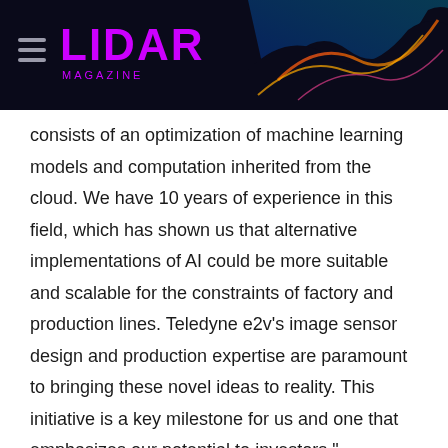LIDAR MAGAZINE
consists of an optimization of machine learning models and computation inherited from the cloud. We have 10 years of experience in this field, which has shown us that alternative implementations of AI could be more suitable and scalable for the constraints of factory and production lines. Teledyne e2v’s image sensor design and production expertise are paramount to bringing these novel ideas to reality. This initiative is a key milestone for us and one that emphasizes our potential to investors.”
Teledyne e2v is part of the Teledyne Imaging Group. Their innovation has led to developments in